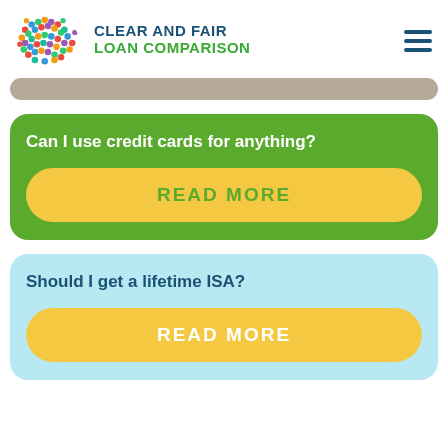CLEAR AND FAIR LOAN COMPARISON
Can I use credit cards for anything?
READ MORE
Should I get a lifetime ISA?
READ MORE